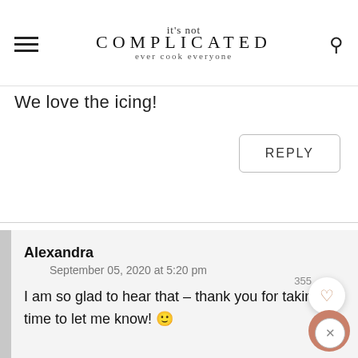it's not COMPLICATED ever cook everyone
We love the icing!
REPLY
Alexandra
September 05, 2020 at 5:20 pm
I am so glad to hear that – thank you for taking the time to let me know! 🙂